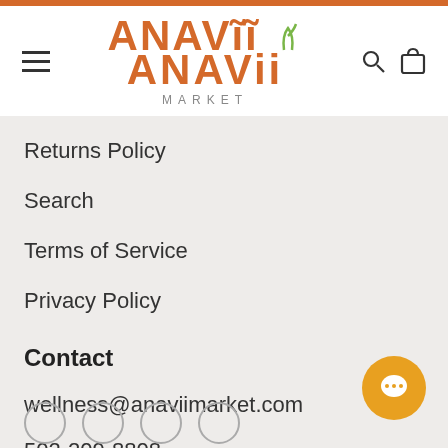ANAVII MARKET
Returns Policy
Search
Terms of Service
Privacy Policy
Contact
wellness@anaviimarket.com
502-209-8808
215 E High St
Lexington Kentucky
40507 United States